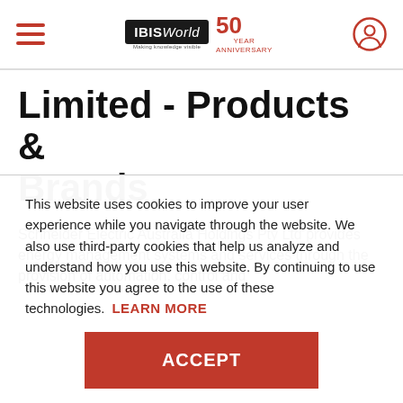IBISWorld 50th Anniversary
Limited - Products & Brands
Schneider Electric Australia Holdings Pty Ltd provides energy management systems and services through the provision of automation, control and
This website uses cookies to improve your user experience while you navigate through the website. We also use third-party cookies that help us analyze and understand how you use this website. By continuing to use this website you agree to the use of these technologies. LEARN MORE
ACCEPT